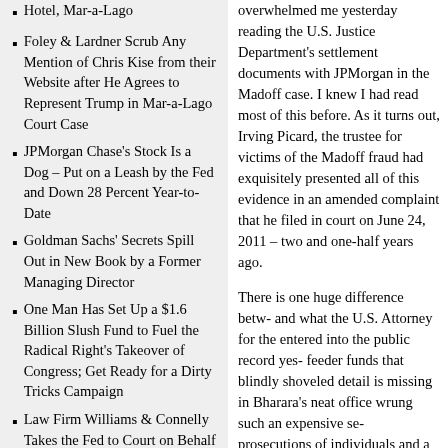Hotel, Mar-a-Lago
Foley & Lardner Scrub Any Mention of Chris Kise from their Website after He Agrees to Represent Trump in Mar-a-Lago Court Case
JPMorgan Chase's Stock Is a Dog – Put on a Leash by the Fed and Down 28 Percent Year-to-Date
Goldman Sachs' Secrets Spill Out in New Book by a Former Managing Director
One Man Has Set Up a $1.6 Billion Slush Fund to Fuel the Radical Right's Takeover of Congress; Get Ready for a Dirty Tricks Campaign
Law Firm Williams & Connelly Takes the Fed to Court on Behalf of a Peculiar Crypto Startup
overwhelmed me yesterday reading the U.S. Justice Department's settlement documents with JPMorgan in the Madoff case. I knew I had read most of this before. As it turns out, Irving Picard, the trustee for victims of the Madoff fraud had exquisitely presented all of this evidence in an amended complaint that he filed in court on June 24, 2011 – two and one-half years ago.
There is one huge difference betw- and what the U.S. Attorney for the entered into the public record yes- feeder funds that blindly shoveled detail is missing in Bharara's neat office wrung such an expensive se- prosecutions of individuals and a itself.